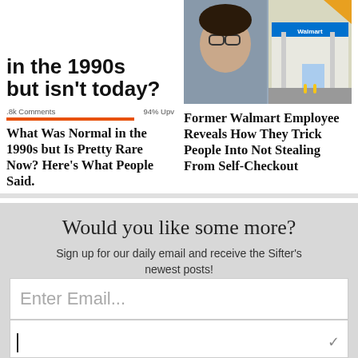[Figure (screenshot): Cropped article thumbnail showing text 'in the 1990s but isn't today?' with comment and upvote counts, and an orange progress bar]
[Figure (photo): Article thumbnail showing a person and a Walmart store exterior]
.8k Comments
94% Upvoted
What Was Normal in the 1990s but Is Pretty Rare Now? Here's What People Said.
Former Walmart Employee Reveals How They Trick People Into Not Stealing From Self-Checkout
Would you like some more?
Sign up for our daily email and receive the Sifter's newest posts!
Enter Email...